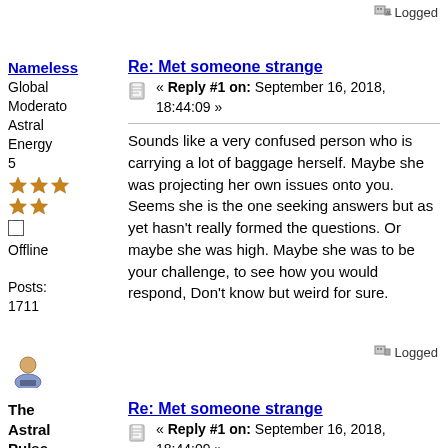Logged
Nameless
Re: Met someone strange
« Reply #1 on: September 16, 2018, 18:44:09 »
Global Moderator
Astral Energy 5
Offline
Posts: 1711
Sounds like a very confused person who is carrying a lot of baggage herself. Maybe she was projecting her own issues onto you. Seems she is the one seeking answers but as yet hasn't really formed the questions. Or maybe she was high. Maybe she was to be your challenge, to see how you would respond, Don't know but weird for sure.
Logged
The Astral Pulse
Re: Met someone strange
« Reply #1 on: September 16, 2018, 18:44:09 »
[Figure (illustration): Banner image with text 'Our Ultimate' on a blue starry background, gold text]